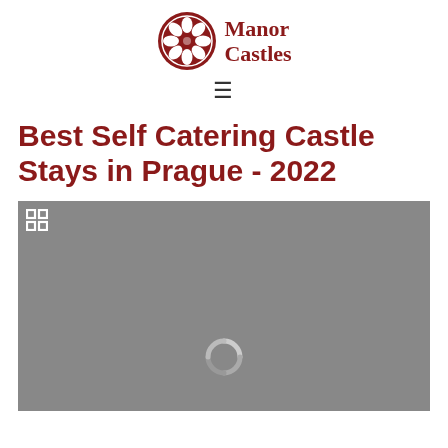Manor Castles
Best Self Catering Castle Stays in Prague - 2022
[Figure (photo): Loading placeholder image (grey background with spinner and expand icon) for a castle or property photo]